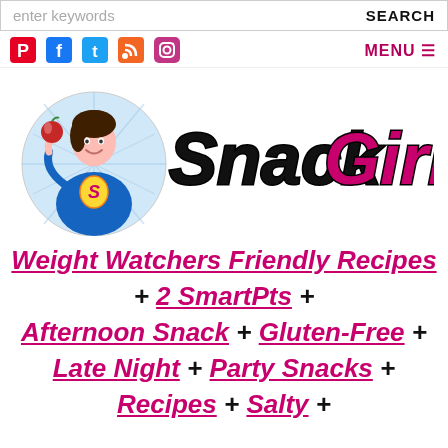enter keywords | SEARCH
[Figure (logo): Social media icons: Pinterest, Facebook, Twitter, RSS, Instagram; MENU hamburger on right]
[Figure (logo): SnackGirl logo with cartoon superhero woman holding apple, text Snack in black italic bold, Girl in magenta italic bold]
Weight Watchers Friendly Recipes + 2 SmartPts + Afternoon Snack + Gluten-Free + Late Night + Party Snacks + Recipes + Salty +